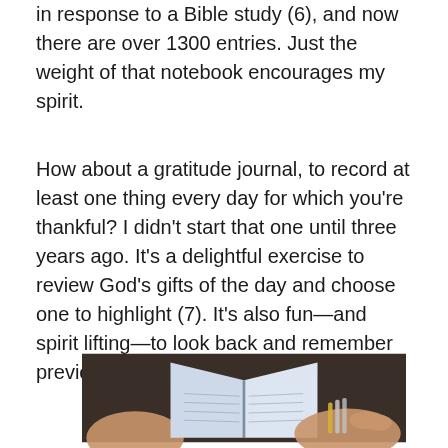in response to a Bible study (6), and now there are over 1300 entries. Just the weight of that notebook encourages my spirit.
How about a gratitude journal, to record at least one thing every day for which you're thankful? I didn't start that one until three years ago. It's a delightful exercise to review God's gifts of the day and choose one to highlight (7). It's also fun—and spirit lifting—to look back and remember previous gifts.
[Figure (photo): Person holding open a journal/notebook, with bracelets visible on wrist, dark textured background]